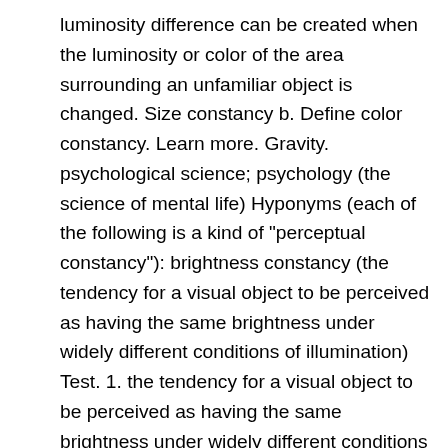luminosity difference can be created when the luminosity or color of the area surrounding an unfamiliar object is changed. Size constancy b. Define color constancy. Learn more. Gravity. psychological science; psychology (the science of mental life) Hyponyms (each of the following is a kind of "perceptual constancy"): brightness constancy (the tendency for a visual object to be perceived as having the same brightness under widely different conditions of illumination) Test. 1. the tendency for a visual object to be perceived as having the same brightness under widely different conditions of illumination Spatial Filtering and Brightness Perception. However, sometimes it screws up, e.g., yielding the simultaneous brightness contrast illusion. Lightness constancy refers to the observation that we continue to see an object in terms of the proportion of light it reflects rather than the total amount of light it reflects. Everything you always wanted to know. constancy definition: 1. the quality of